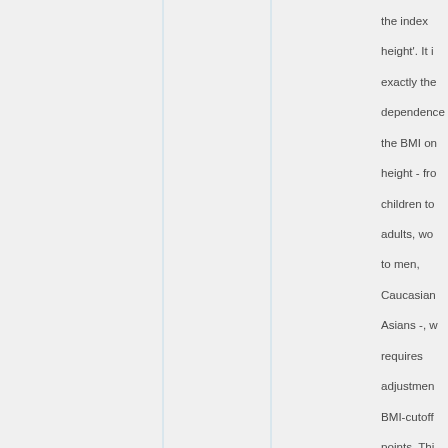the index height'. It is exactly the dependence the BMI on height - from children to adults, women to men, Caucasians Asians -, which requires adjustment BMI-cutoff points. This deficiency resolved by body mass excess rel to the health reference